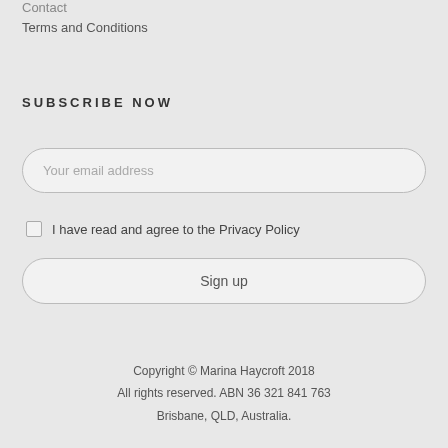Contact
Terms and Conditions
SUBSCRIBE NOW
Your email address
I have read and agree to the Privacy Policy
Sign up
Copyright © Marina Haycroft 2018
All rights reserved. ABN 36 321 841 763
Brisbane, QLD, Australia.